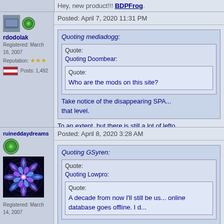Hey, new product!!! BDPFrog.
rdodolak
Registered: March 18, 2007
Reputation: ★★★
Posts: 1,492
Posted: April 7, 2020 11:31 PM
Quoting mediadogg:
Quote:
Quoting Doombear:
Quote:
Who are the mods on this site?
Take notice of the disappearing SPA... that level.
To an extent, but there is still a lot of lefto... dependent on getting so many negative v...
ruineddaydreams
Registered: Dec. 2, 2002
Registered: March 14, 2007
[Figure (illustration): Blue and purple mandala/fractal flower artwork on dark background]
Posted: April 8, 2020 3:28 AM
Quoting GSyren:
Quote:
Quoting Lowpro:
Quote:
A decade from now I'll still be us... online database goes offline. I d...
I can live with that, but ... I'd be more... moving to watch and marking the...